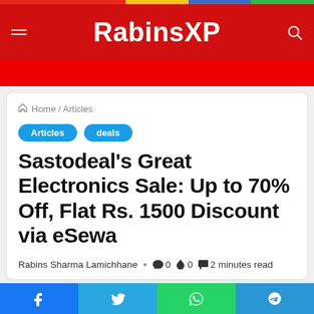RabinsXP
Home / Articles
Articles
deals
Sastodeal's Great Electronics Sale: Up to 70% Off, Flat Rs. 1500 Discount via eSewa
Rabins Sharma Lamichhane  •  🗨 0  🔥 0  🏷 2 minutes read